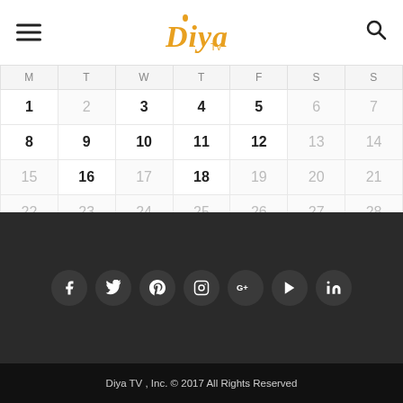Diya TV
| M | T | W | T | F | S | S |
| --- | --- | --- | --- | --- | --- | --- |
| 1 | 2 | 3 | 4 | 5 | 6 | 7 |
| 8 | 9 | 10 | 11 | 12 | 13 | 14 |
| 15 | 16 | 17 | 18 | 19 | 20 | 21 |
| 22 | 23 | 24 | 25 | 26 | 27 | 28 |
| 29 | 30 | 31 |  |  |  |  |
« Jul
[Figure (infographic): Social media icons row: Facebook, Twitter, Pinterest, Instagram, Google+, YouTube, LinkedIn — white icons on dark gray circular buttons against a dark background]
Diya TV , Inc. © 2017 All Rights Reserved